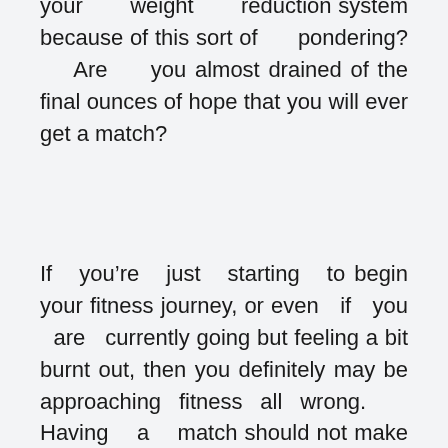your weight reduction system because of this sort of pondering? Are you almost drained of the final ounces of hope that you will ever get a match?
If you’re just starting to begin your fitness journey, or even if you are currently going but feeling a bit burnt out, then you definitely may be approaching fitness all wrong. Having a match should not make you feel like you’re within a boot